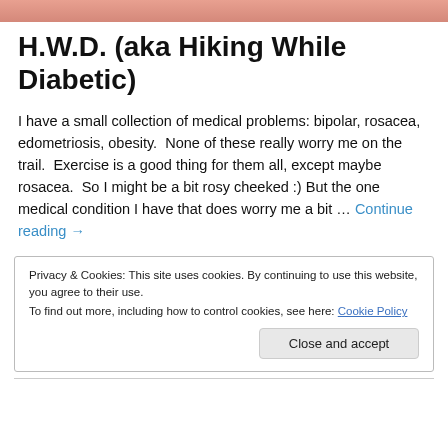[Figure (photo): Partial image of a person's arm/hand at the top of the page, skin-toned]
H.W.D. (aka Hiking While Diabetic)
I have a small collection of medical problems: bipolar, rosacea, edometriosis, obesity.  None of these really worry me on the trail.  Exercise is a good thing for them all, except maybe rosacea.  So I might be a bit rosy cheeked :) But the one medical condition I have that does worry me a bit … Continue reading →
Privacy & Cookies: This site uses cookies. By continuing to use this website, you agree to their use.
To find out more, including how to control cookies, see here: Cookie Policy
Close and accept